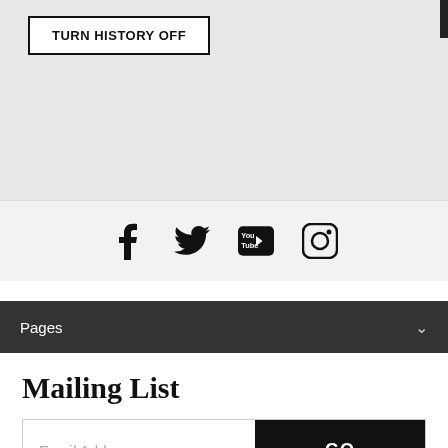TURN HISTORY OFF
[Figure (illustration): Social media icons: Facebook, Twitter, YouTube, Instagram]
Pages
Mailing List
Email Address GO
Subscribe   Unsubscribe